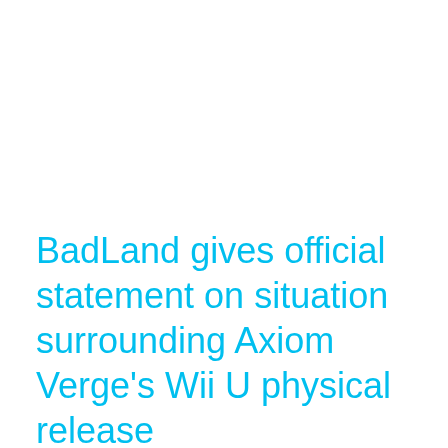BadLand gives official statement on situation surrounding Axiom Verge's Wii U physical release